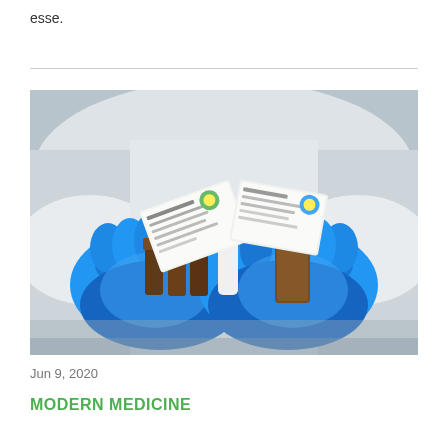esse.
[Figure (photo): Gloved hands in blue latex gloves holding multiple medicine bottles and medication packaging/blister packs, person wearing white lab coat in background]
Jun 9, 2020
MODERN MEDICINE